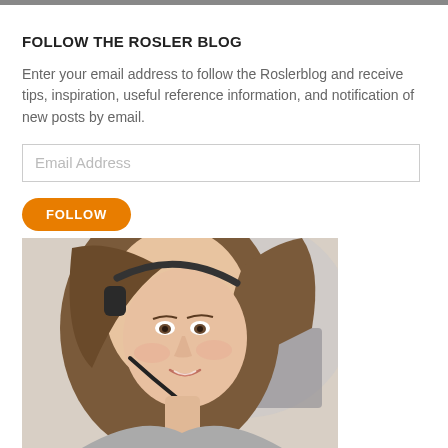FOLLOW THE ROSLER BLOG
Enter your email address to follow the Roslerblog and receive tips, inspiration, useful reference information, and notification of new posts by email.
Email Address
FOLLOW
[Figure (photo): A smiling woman wearing a headset microphone, looking down slightly, with light background.]